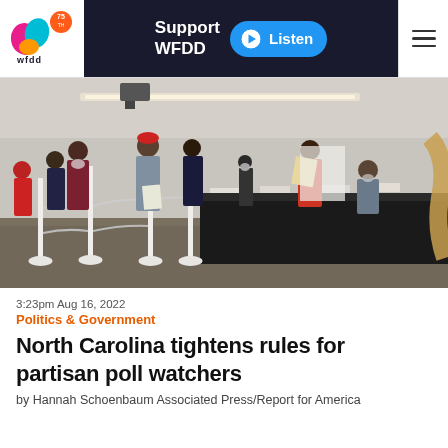WFDD 75th — Support WFDD | Listen
[Figure (photo): People standing in line at a voting/election registration table inside a large room with stanchions, poll workers seated at a black-draped table checking in voters wearing masks.]
3:23pm Aug 16, 2022
Politics & Government
North Carolina tightens rules for partisan poll watchers
by Hannah Schoenbaum Associated Press/Report for America